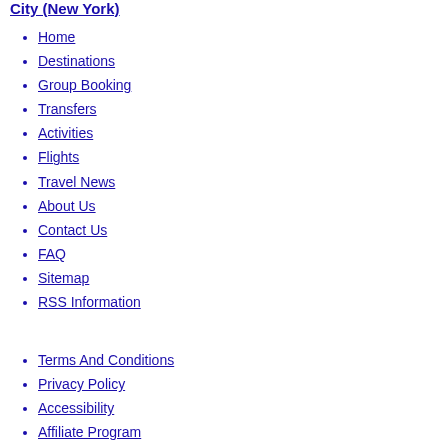City (New York)
Home
Destinations
Group Booking
Transfers
Activities
Flights
Travel News
About Us
Contact Us
FAQ
Sitemap
RSS Information
Terms And Conditions
Privacy Policy
Accessibility
Affiliate Program
© Traveltura 2010. All Rights Reserved.